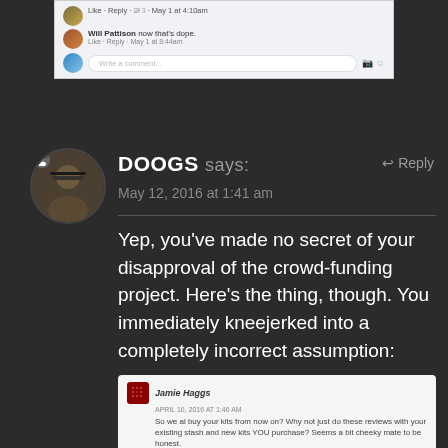[Figure (screenshot): Facebook comment thread screenshot showing 'Will Pattison now that's dope' comment with Like/Reply and a comment input box]
[Figure (photo): Circular avatar photo of DOOGS - person wearing glasses]
DOOGS says:
↩ Reply
May 12, 2016 at 1:41 am
Yep, you've made no secret of your disapproval of the crowd-funding project. Here's the thing, though. You immediately kneejerked into a completely incorrect assumption:
[Figure (screenshot): Nested comment from Jamie Haggs, APRIL 16, 2016 AT 1:46 AM: 'So we al buy your kits from now on? Why not just do these reviews with your existing stash and new kits YOU purchase? Seems a bit cheeky mate to be honest.']